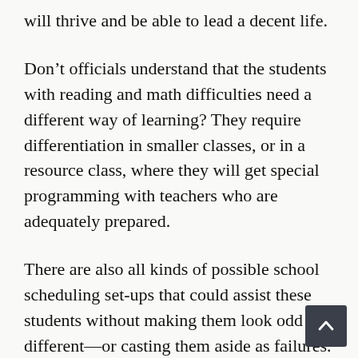will thrive and be able to lead a decent life.
Don’t officials understand that the students with reading and math difficulties need a different way of learning? They require differentiation in smaller classes, or in a resource class, where they will get special programming with teachers who are adequately prepared.
There are also all kinds of possible school scheduling set-ups that could assist these students without making them look odd or different—or casting them aside as failures.
Retention, making students sit through the same instruction they had the year earlier, is not